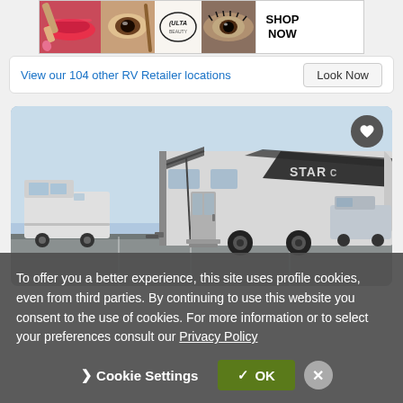[Figure (photo): ULTA Beauty advertisement banner with makeup product images and 'SHOP NOW' text]
View our 104 other RV Retailer locations   Look Now
[Figure (photo): Photo of a Starcraft RV travel trailer parked in a lot]
To offer you a better experience, this site uses profile cookies, even from third parties. By continuing to use this website you consent to the use of cookies. For more information or to select your preferences consult our Privacy Policy
> Cookie Settings   ✓ OK   ✕